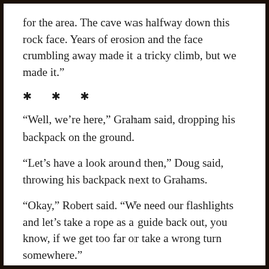for the area. The cave was halfway down this rock face. Years of erosion and the face crumbling away made it a tricky climb, but we made it.”
* * *
“Well, we’re here,” Graham said, dropping his backpack on the ground.
“Let’s have a look around then,” Doug said, throwing his backpack next to Grahams.
“Okay,” Robert said. “We need our flashlights and let’s take a rope as a guide back out, you know, if we get too far or take a wrong turn somewhere.”